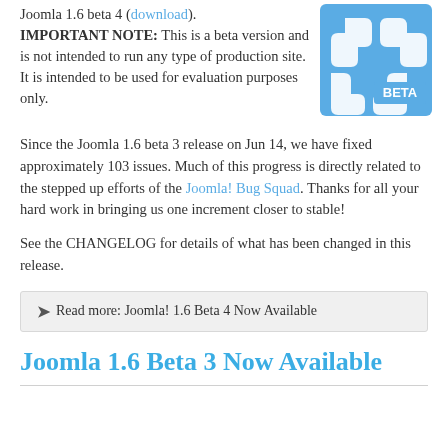Joomla 1.6 beta 4 (download). IMPORTANT NOTE: This is a beta version and is not intended to run any type of production site. It is intended to be used for evaluation purposes only.
[Figure (logo): Joomla logo on blue background with BETA label]
Since the Joomla 1.6 beta 3 release on Jun 14, we have fixed approximately 103 issues. Much of this progress is directly related to the stepped up efforts of the Joomla! Bug Squad. Thanks for all your hard work in bringing us one increment closer to stable!
See the CHANGELOG for details of what has been changed in this release.
Read more: Joomla! 1.6 Beta 4 Now Available
Joomla 1.6 Beta 3 Now Available